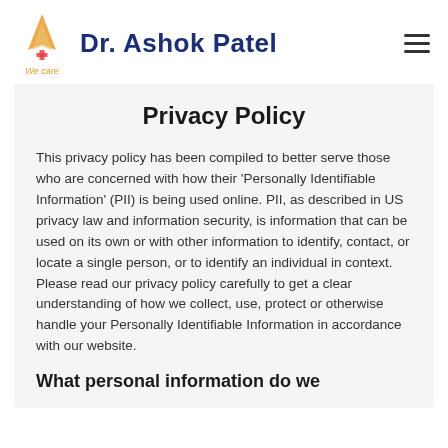Dr. Ashok Patel | We care
Privacy Policy
This privacy policy has been compiled to better serve those who are concerned with how their 'Personally Identifiable Information' (PII) is being used online. PII, as described in US privacy law and information security, is information that can be used on its own or with other information to identify, contact, or locate a single person, or to identify an individual in context. Please read our privacy policy carefully to get a clear understanding of how we collect, use, protect or otherwise handle your Personally Identifiable Information in accordance with our website.
What personal information do we